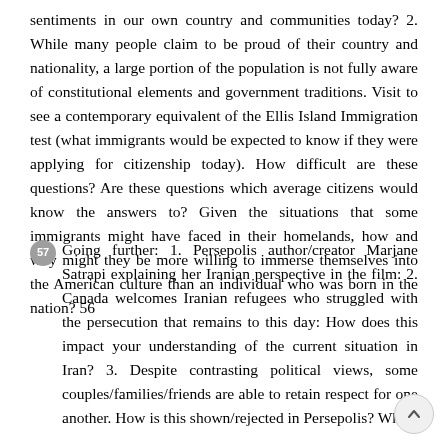sentiments in our own country and communities today? 2. While many people claim to be proud of their country and nationality, a large portion of the population is not fully aware of constitutional elements and government traditions. Visit to see a contemporary equivalent of the Ellis Island Immigration test (what immigrants would be expected to know if they were applying for citizenship today). How difficult are these questions? Are these questions which average citizens would know the answers to? Given the situations that some immigrants might have faced in their homelands, how and why might they be more willing to immerse themselves into the American culture than an individual who was born in the nation? 56
57 Going further: 1. Persepolis author/creator Marjane Satrapi explaining her Iranian perspective in the film: 2. Canada welcomes Iranian refugees who struggled with the persecution that remains to this day: How does this impact your understanding of the current situation in Iran? 3. Despite contrasting political views, some couples/families/friends are able to retain respect for one another. How is this shown/rejected in Persepolis? What about the attitudes about the current situation in Iran?